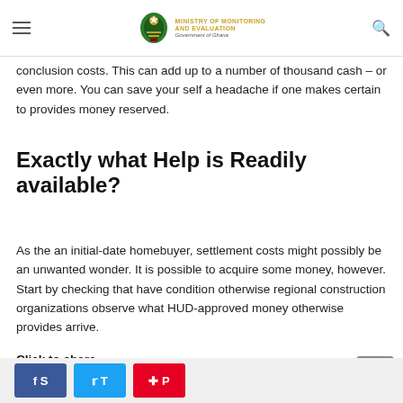Ministry of Monitoring and Evaluation – Government of Ghana
conclusion costs. This can add up to a number of thousand cash – or even more. You can save your self a headache if one makes certain to provides money reserved.
Exactly what Help is Readily available?
As the an initial-date homebuyer, settlement costs might possibly be an unwanted wonder. It is possible to acquire some money, however. Start by checking that have condition otherwise regional construction organizations observe what HUD-approved money otherwise provides arrive.
Click to share